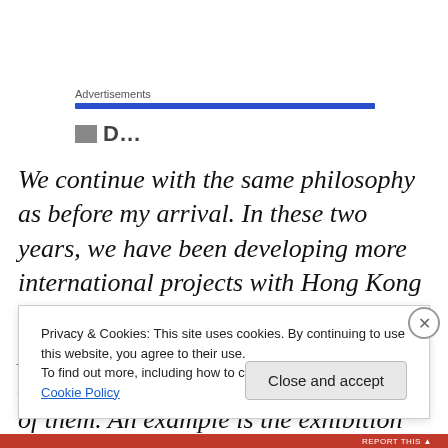Advertisements
We continue with the same philosophy as before my arrival. In these two years, we have been developing more international projects with Hong Kong artists. We have also done a few projects with artists from outside Hong Kong, creating a dialogue between all of them. An example is the exhibition we curated with Joseph Kosuth
Privacy & Cookies: This site uses cookies. By continuing to use this website, you agree to their use.
To find out more, including how to control cookies, see here: Cookie Policy
Close and accept